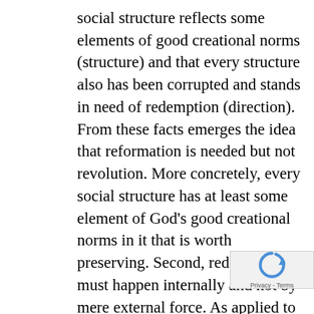social structure reflects some elements of good creational norms (structure) and that every structure also has been corrupted and stands in need of redemption (direction). From these facts emerges the idea that reformation is needed but not revolution. More concretely, every social structure has at least some element of God's good creational norms in it that is worth preserving. Second, redemption must happen internally and not by mere external force. As applied to slavery there is the recognition of legitimate authority structures in work relationships. Due to sin this legitimate authority structure has been perverted. The New Testament reforms this relationship by defining the worth of all people in terms of their relatio to God (in some languages) and relation to Christ...